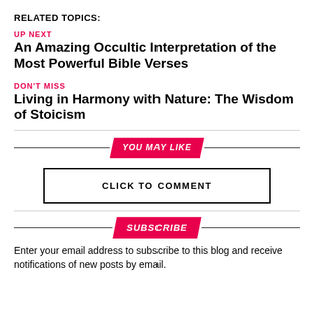RELATED TOPICS:
UP NEXT
An Amazing Occultic Interpretation of the Most Powerful Bible Verses
DON'T MISS
Living in Harmony with Nature: The Wisdom of Stoicism
YOU MAY LIKE
CLICK TO COMMENT
SUBSCRIBE
Enter your email address to subscribe to this blog and receive notifications of new posts by email.